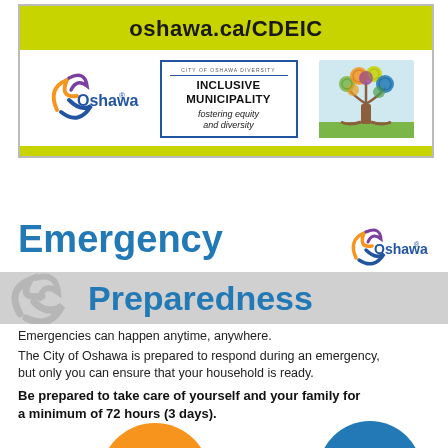oshawa.ca/CDEIC
[Figure (logo): Oshawa city logo with orange and blue swoosh and text 'Oshawa']
[Figure (infographic): Stamp reading 'INCLUSIVE MUNICIPALITY fostering equity and diversity']
[Figure (illustration): Colorful diversity tree illustration with multi-colored circles as leaves]
Emergency Preparedness
[Figure (logo): Oshawa city logo with orange and blue swoosh and text 'Oshawa']
Emergencies can happen anytime, anywhere.
The City of Oshawa is prepared to respond during an emergency, but only you can ensure that your household is ready.
Be prepared to take care of yourself and your family for a minimum of 72 hours (3 days).
[Figure (infographic): Partial orange circle and partial teal/blue circle at bottom of page]